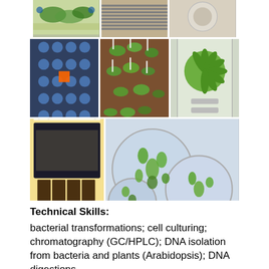[Figure (photo): Three laboratory photos in a row: Arabidopsis plants on a tray, seedlings in trays with labels, close-up of a petri dish or lab equipment]
[Figure (photo): Three laboratory photos in a row: a blue-dotted growth plate/tray, seedlings growing in soil trays with labels, a single Arabidopsis rosette plant inside a growth chamber]
[Figure (photo): Two laboratory photos: a plant growth chamber with yellow-lit interior, and petri dishes containing small green seedlings/plant material]
Technical Skills:
bacterial transformations; cell culturing; chromatography (GC/HPLC); DNA isolation from bacteria and plants (Arabidopsis); DNA digestions